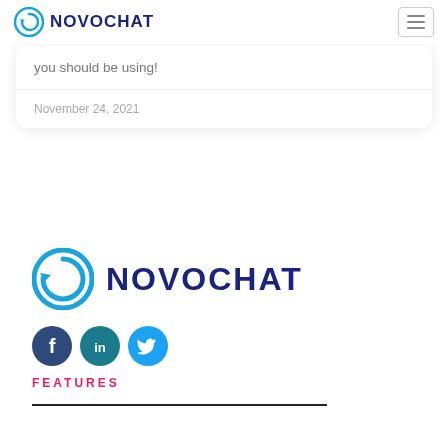[Figure (logo): Novochat logo in top navigation bar with circular arrow icon and bold dark blue text NOVOCHAT]
you should be using!
November 24, 2021
[Figure (logo): Large Novochat footer logo with circular arrow icon and bold dark navy text NOVOCHAT]
[Figure (other): Social media icons: Facebook (dark blue circle), LinkedIn (teal circle), Twitter (light blue circle)]
FEATURES